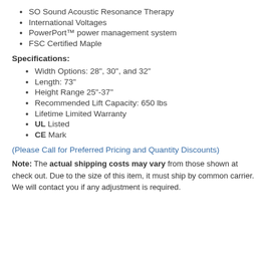SO Sound Acoustic Resonance Therapy
International Voltages
PowerPort™ power management system
FSC Certified Maple
Specifications:
Width Options: 28", 30", and 32"
Length: 73"
Height Range 25"-37"
Recommended Lift Capacity: 650 lbs
Lifetime Limited Warranty
UL Listed
CE Mark
(Please Call for Preferred Pricing and Quantity Discounts)
Note: The actual shipping costs may vary from those shown at check out. Due to the size of this item, it must ship by common carrier. We will contact you if any adjustment is required.